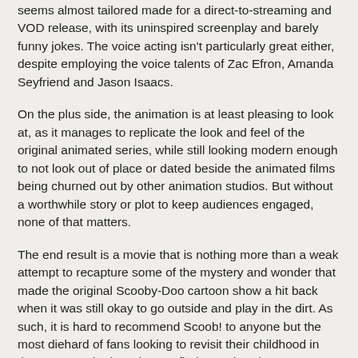seems almost tailored made for a direct-to-streaming and VOD release, with its uninspired screenplay and barely funny jokes. The voice acting isn't particularly great either, despite employing the voice talents of Zac Efron, Amanda Seyfriend and Jason Isaacs.
On the plus side, the animation is at least pleasing to look at, as it manages to replicate the look and feel of the original animated series, while still looking modern enough to not look out of place or dated beside the animated films being churned out by other animation studios. But without a worthwhile story or plot to keep audiences engaged, none of that matters.
The end result is a movie that is nothing more than a weak attempt to recapture some of the mystery and wonder that made the original Scooby-Doo cartoon show a hit back when it was still okay to go outside and play in the dirt. As such, it is hard to recommend Scoob! to anyone but the most diehard of fans looking to revisit their childhood in these uncertain days that we find ourselves in.
Michael Abayomi at 20:00    1 comment: